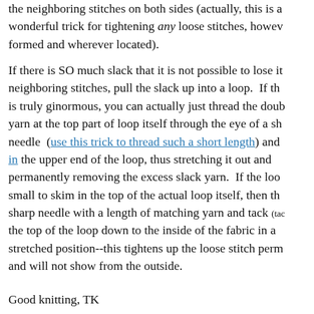the neighboring stitches on both sides (actually, this is a wonderful trick for tightening any loose stitches, however formed and wherever located).
If there is SO much slack that it is not possible to lose it in neighboring stitches, pull the slack up into a loop.  If the loop is truly ginormous, you can actually just thread the double yarn at the top part of loop itself through the eye of a sharp needle  (use this trick to thread such a short length) and in the upper end of the loop, thus stretching it out and permanently removing the excess slack yarn.  If the loop is too small to skim in the top of the actual loop itself, then thread a sharp needle with a length of matching yarn and tack (tack) the top of the loop down to the inside of the fabric in a stretched position--this tightens up the loose stitch permanently and will not show from the outside.
Good knitting, TK